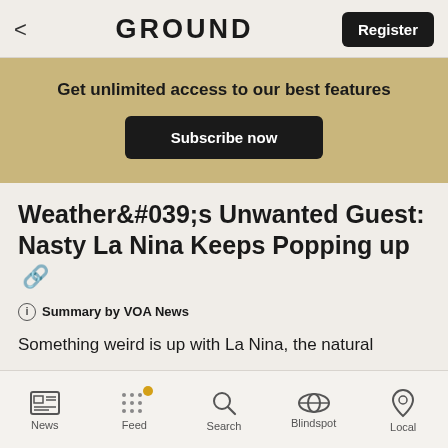GROUND
Get unlimited access to our best features
Subscribe now
Weather's Unwanted Guest: Nasty La Nina Keeps Popping up 🔗
ⓘ Summary by VOA News
Something weird is up with La Nina, the natural
News | Feed | Search | Blindspot | Local